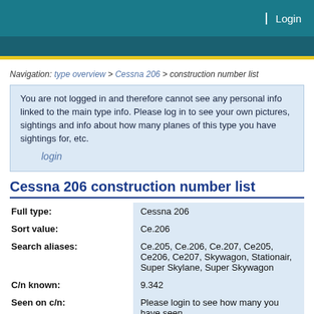Login
Navigation: type overview > Cessna 206 > construction number list
You are not logged in and therefore cannot see any personal info linked to the main type info. Please log in to see your own pictures, sightings and info about how many planes of this type you have sightings for, etc.
login
Cessna 206 construction number list
| Field | Value |
| --- | --- |
| Full type: | Cessna 206 |
| Sort value: | Ce.206 |
| Search aliases: | Ce.205, Ce.206, Ce.207, Ce205, Ce206, Ce207, Skywagon, Stationair, Super Skylane, Super Skywagon |
| C/n known: | 9.342 |
| Seen on c/n: | Please login to see how many you have seen |
To view the construction number list, please login to see construction numbers